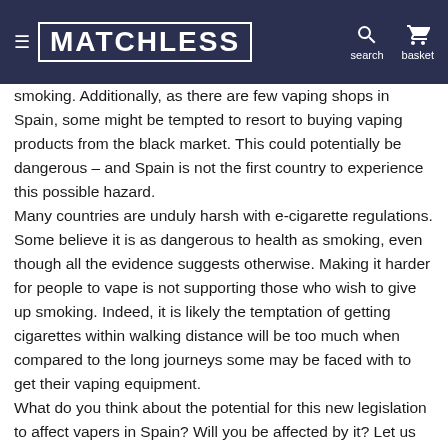matchless  search  basket
smoking. Additionally, as there are few vaping shops in Spain, some might be tempted to resort to buying vaping products from the black market. This could potentially be dangerous – and Spain is not the first country to experience this possible hazard.
Many countries are unduly harsh with e-cigarette regulations. Some believe it is as dangerous to health as smoking, even though all the evidence suggests otherwise. Making it harder for people to vape is not supporting those who wish to give up smoking. Indeed, it is likely the temptation of getting cigarettes within walking distance will be too much when compared to the long journeys some may be faced with to get their vaping equipment.
What do you think about the potential for this new legislation to affect vapers in Spain? Will you be affected by it? Let us know.